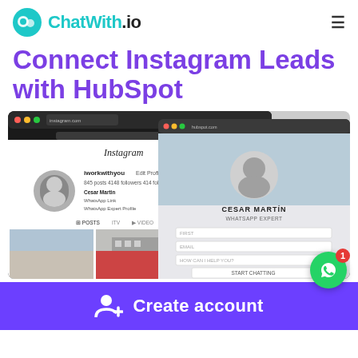ChatWith.io
Connect Instagram Leads with HubSpot
[Figure (screenshot): Browser screenshot showing an Instagram profile page (iworkwithyou) with photos, overlaid with a HubSpot contact card for Cesar Martin with form fields]
Create account